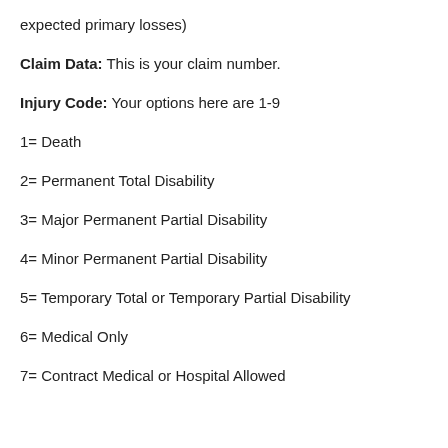expected primary losses)
Claim Data: This is your claim number.
Injury Code: Your options here are 1-9
1= Death
2= Permanent Total Disability
3= Major Permanent Partial Disability
4= Minor Permanent Partial Disability
5= Temporary Total or Temporary Partial Disability
6= Medical Only
7= Contract Medical or Hospital Allowed